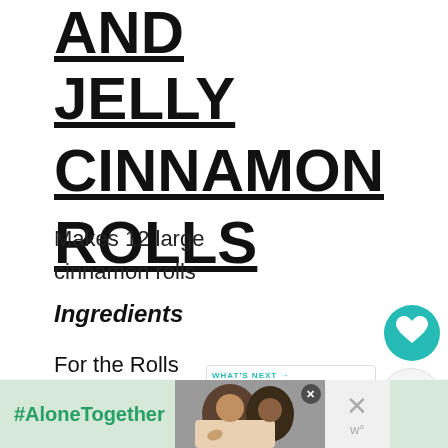AND JELLY CINNAMON ROLLS
Makes 12 large cinnamon rolls
Ingredients
For the Rolls
1 Cup warm milk
[Figure (screenshot): Teal heart/like button, count of 1, and share button in right sidebar]
[Figure (screenshot): What's Next widget with BBQ Chip Shake and... label and food thumbnail]
[Figure (screenshot): Ad banner with #AloneTogether text in green on light green background, photo of people, and close buttons]